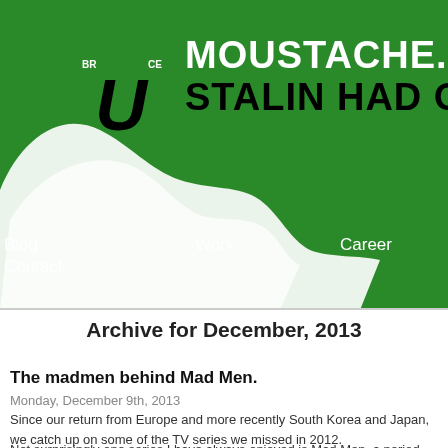[Figure (logo): Bruce logo with green background, stylized letter U with BR and CE superscripts, white swoosh/moustache shape below]
MOUSTACHE. STALIN HAD ONE B
Blog  Work  Career  Experience
Contact
Archive for December, 2013
The madmen behind Mad Men.
Monday, December 9th, 2013
Since our return from Europe and more recently South Korea and Japan, we catch up on some of the TV series we missed in 2012.
Not surprisingly one series I have always enjoyed is Mad Men, a period dr...